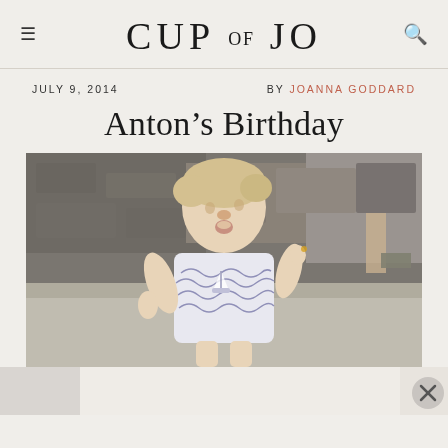CUP OF JO
JULY 9, 2014   BY JOANNA GODDARD
Anton's Birthday
[Figure (photo): A toddler boy in a white t-shirt with nautical/ship pattern, standing outdoors with rocky background, arms raised slightly, looking up with an expression of wonder.]
[Figure (photo): Bottom advertisement/overlay bar with close button (X)]